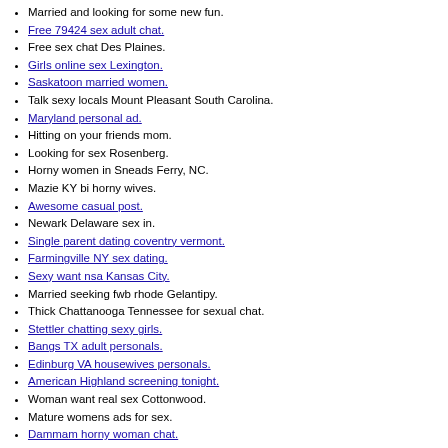Married and looking for some new fun.
Free 79424 sex adult chat.
Free sex chat Des Plaines.
Girls online sex Lexington.
Saskatoon married women.
Talk sexy locals Mount Pleasant South Carolina.
Maryland personal ad.
Hitting on your friends mom.
Looking for sex Rosenberg.
Horny women in Sneads Ferry, NC.
Mazie KY bi horny wives.
Awesome casual post.
Newark Delaware sex in.
Single parent dating coventry vermont.
Farmingville NY sex dating.
Sexy want nsa Kansas City.
Married seeking fwb rhode Gelantipy.
Thick Chattanooga Tennessee for sexual chat.
Stettler chatting sexy girls.
Bangs TX adult personals.
Edinburg VA housewives personals.
American Highland screening tonight.
Woman want real sex Cottonwood.
Mature womens ads for sex.
Dammam horny woman chat.